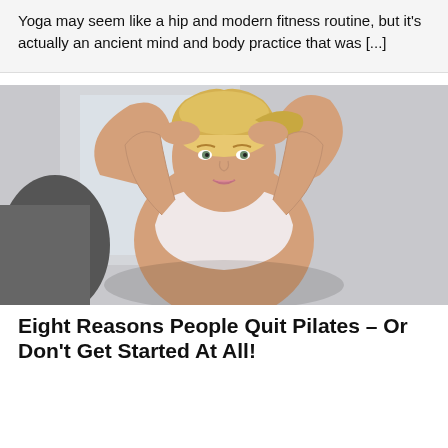Yoga may seem like a hip and modern fitness routine, but it's actually an ancient mind and body practice that was [...]
[Figure (photo): A blonde woman in a white tank top with her hands clasped behind her head, appearing to do a sit-up or core exercise. She is looking at the camera in a gym setting.]
Eight Reasons People Quit Pilates – Or Don't Get Started At All!